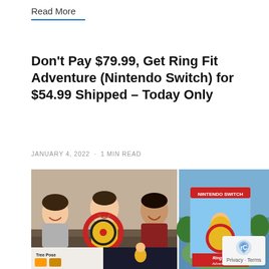Read More
Don't Pay $79.99, Get Ring Fit Adventure (Nintendo Switch) for $54.99 Shipped – Today Only
JANUARY 4, 2022 · 1 MIN READ
[Figure (photo): Collage of Ring Fit Adventure Nintendo Switch images: people playing on couch with ring controller, product box, yoga pose screenshot, and gameplay screenshot]